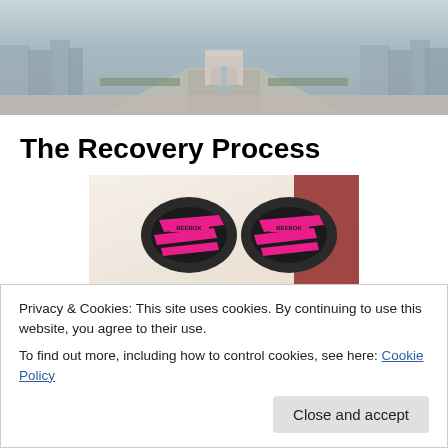[Figure (photo): Aerial view of Paris showing the Arc de Triomphe and Champs-Élysées boulevard with crowds]
The Recovery Process
[Figure (photo): Black and pink running shoes (Reebok) photographed from above on a light background]
Privacy & Cookies: This site uses cookies. By continuing to use this website, you agree to their use.
To find out more, including how to control cookies, see here: Cookie Policy
Close and accept